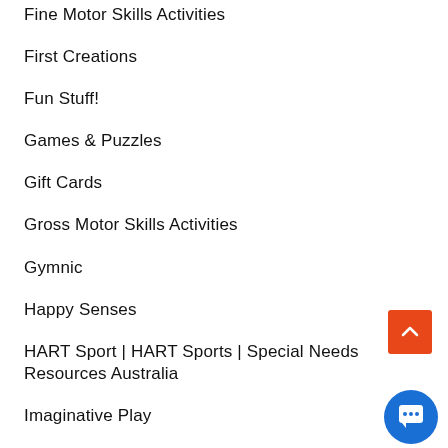Fine Motor Skills Activities
First Creations
Fun Stuff!
Games & Puzzles
Gift Cards
Gross Motor Skills Activities
Gymnic
Happy Senses
HART Sport | HART Sports | Special Needs Resources Australia
Imaginative Play
JS Sports
Kaiko Fidgets